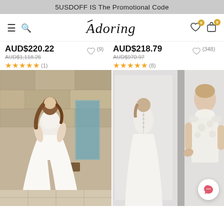5USDOFF IS  The Promotional Code
[Figure (screenshot): E-commerce navigation bar with hamburger menu, search icon, Adoring logo, heart icon with badge 0, and cart icon with badge 0]
AUD$220.22
AUD$1,118.26
★★★★★ (1)
AUD$218.79
AUD$970.97
★★★★★ (8)
[Figure (photo): Woman in white lace wedding dress with high slit, outdoor setting]
[Figure (photo): Woman in white lace high-neck wedding dress, mirror reflection showing back with button detail]